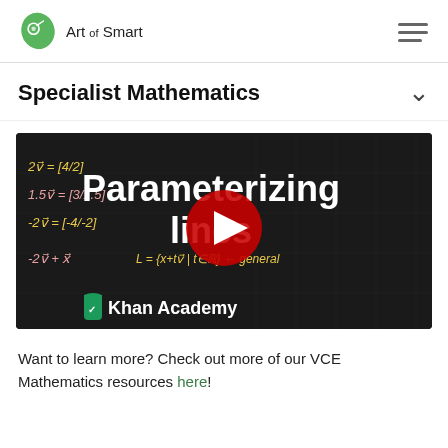Art of Smart
Specialist Mathematics
[Figure (screenshot): Khan Academy YouTube video thumbnail titled 'Parameterizing lines' showing a blackboard with vector equations and a red YouTube play button in the center, along with Khan Academy branding at the bottom.]
Want to learn more? Check out more of our VCE Mathematics resources here!